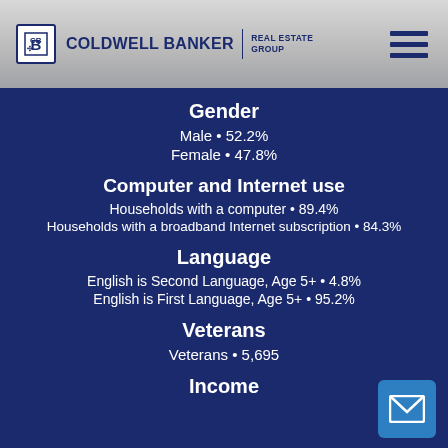Coldwell Banker Real Estate Group
Gender
Male • 52.2%
Female • 47.8%
Computer and Internet use
Households with a computer • 89.4%
Households with a broadband Internet subscription • 84.3%
Language
English is Second Language, Age 5+ • 4.8%
English is First Language, Age 5+ • 95.2%
Veterans
Veterans • 5,695
Income